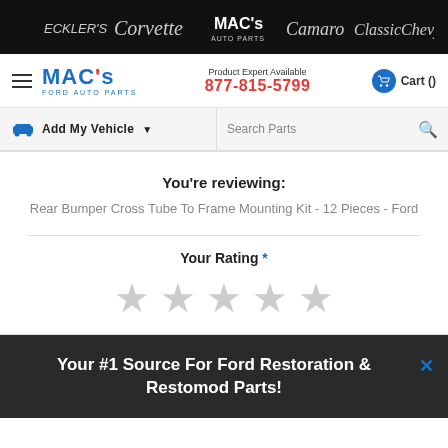[Figure (logo): Top black banner with brand logos: Eckler's, Corvette, MAC's Auto Parts, Camaro, ClassicChevy]
MAC's FORD AUTO PARTS | Product Expert Available 877-815-5799 | Cart ()
Add My Vehicle | Search Parts
You're reviewing:
Rear Bumper Cross Tube To Frame Mounting Kit - 12 Pieces - Ford
Your Rating *
[Figure (other): 5 empty grey star rating icons]
Your #1 Source For Ford Restoration & Restomod Parts!